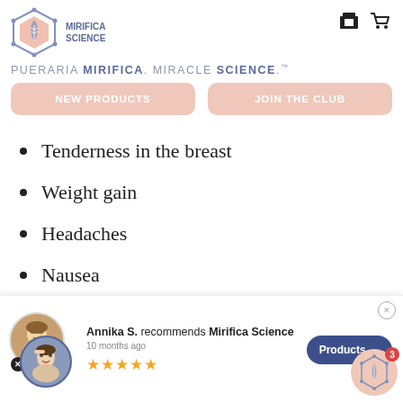[Figure (logo): Mirifica Science hexagon logo with leaf motif and text 'MIRIFICA SCIENCE']
PUERARIA MIRIFICA. MIRACLE SCIENCE.™
NEW PRODUCTS
JOIN THE CLUB
Tenderness in the breast
Weight gain
Headaches
Nausea
Annika S. recommends Mirifica Science
10 months ago
★★★★★
Products →